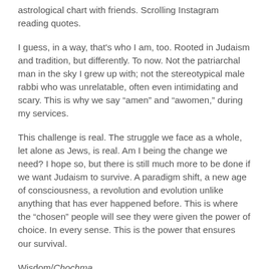astrological chart with friends. Scrolling Instagram reading quotes.
I guess, in a way, that's who I am, too. Rooted in Judaism and tradition, but differently. To now. Not the patriarchal man in the sky I grew up with; not the stereotypical male rabbi who was unrelatable, often even intimidating and scary. This is why we say “amen” and “awomen,” during my services.
This challenge is real. The struggle we face as a whole, let alone as Jews, is real. Am I being the change we need? I hope so, but there is still much more to be done if we want Judaism to survive. A paradigm shift, a new age of consciousness, a revolution and evolution unlike anything that has ever happened before. This is where the “chosen” people will see they were given the power of choice. In every sense. This is the power that ensures our survival.
Wisdom/Chochma